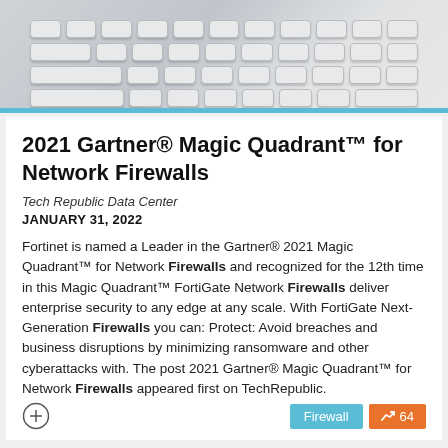[Figure (photo): Overhead photo of a white keyboard on a light gray desk]
2021 Gartner® Magic Quadrant™ for Network Firewalls
Tech Republic Data Center
JANUARY 31, 2022
Fortinet is named a Leader in the Gartner® 2021 Magic Quadrant™ for Network Firewalls and recognized for the 12th time in this Magic Quadrant™ FortiGate Network Firewalls deliver enterprise security to any edge at any scale. With FortiGate Next-Generation Firewalls you can: Protect: Avoid breaches and business disruptions by minimizing ransomware and other cyberattacks with. The post 2021 Gartner® Magic Quadrant™ for Network Firewalls appeared first on TechRepublic.